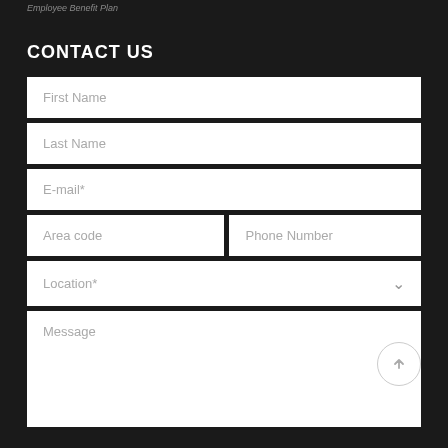Employee Benefit Plan
CONTACT US
First Name
Last Name
E-mail*
Area code
Phone Number
Location*
Message